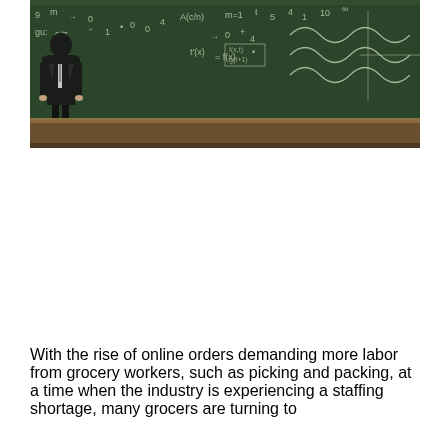[Figure (photo): A person in dark business attire standing in front of a chalkboard covered with mathematical equations, formulas, and graphs. The chalkboard has white chalk writing including numbers, arrows, wave functions, and various mathematical notations. The bottom of the chalkboard has a wooden chalk ledge.]
With the rise of online orders demanding more labor from grocery workers, such as picking and packing, at a time when the industry is experiencing a staffing shortage, many grocers are turning to